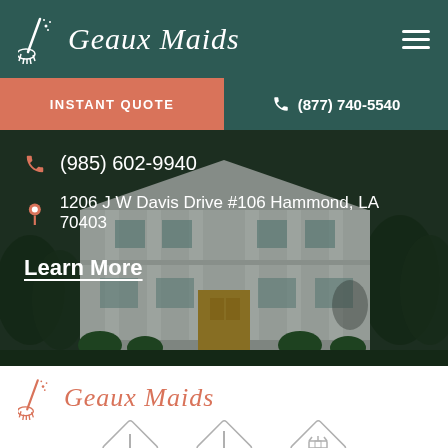Geaux Maids
INSTANT QUOTE
(877) 740-5540
(985) 602-9940
1206 J W Davis Drive #106 Hammond, LA 70403
Learn More
Geaux Maids
[Figure (logo): Geaux Maids logo with broom icon repeated in orange/salmon color]
[Figure (illustration): Three diamond-shaped service icons: plunger/cleaning, vacuum/mop, and moving boxes]
[Figure (photo): Background photo of a large white Southern-style colonial house with columns, lit at night]